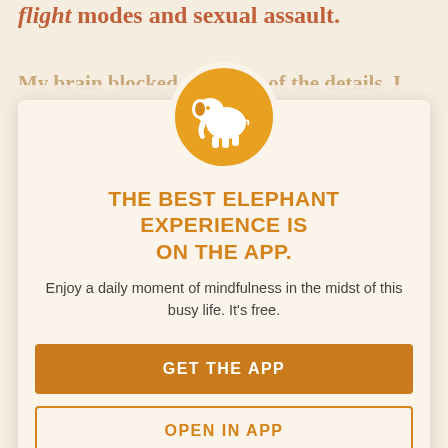flight modes and sexual assault.
My brain blocked out some of the details. I can't remember if I said anything or not. I felt so much shame, so much guilt, so much anger. Why didn't I scream? Fight back? Call the police? Run away when I had the chance?
[Figure (infographic): App promotion modal overlay with elephant logo in orange circle. Contains title 'THE BEST ELEPHANT EXPERIENCE IS ON THE APP.' and subtitle 'Enjoy a daily moment of mindfulness in the midst of this busy life. It's free.' with two buttons: GET THE APP and OPEN IN APP.]
So many survivors experience guilt and shame surrounding sexual assaults, which is often what keeps us from reporting it. It
overriding the...all things that
a year or more...with him in...